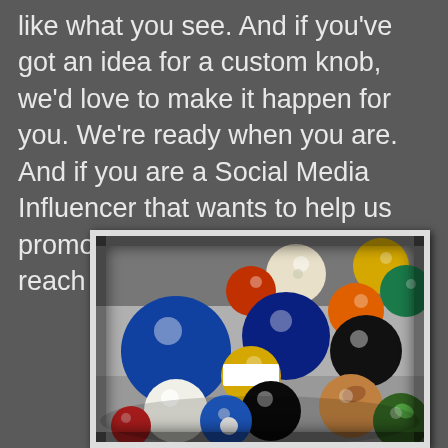like what you see. And if you've got an idea for a custom knob, we'd love to make it happen for you. We're ready when you are. And if you are a Social Media Influencer that wants to help us promote our products please reach out. Thanks.
[Figure (photo): A close-up photograph of many colorful billiard/pool balls clustered together, showing various colors including blue, red, yellow, green, white, and black balls, displayed in a frame with a grunge/worn border effect.]